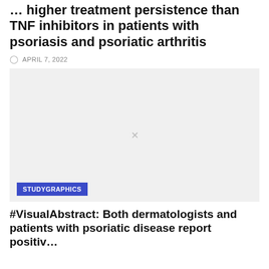… higher treatment persistence than TNF inhibitors in patients with psoriasis and psoriatic arthritis
APRIL 7, 2022
[Figure (other): Image placeholder with light gray background and an X in the center, with a 'STUDYGRAPHICS' badge in the lower left corner]
#VisualAbstract: Both dermatologists and patients with psoriatic disease report positive…